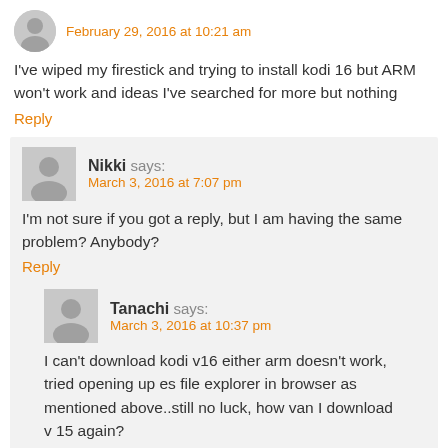February 29, 2016 at 10:21 am
I've wiped my firestick and trying to install kodi 16 but ARM won't work and ideas I've searched for more but nothing
Reply
Nikki says:
March 3, 2016 at 7:07 pm
I'm not sure if you got a reply, but I am having the same problem? Anybody?
Reply
Tanachi says:
March 3, 2016 at 10:37 pm
I can't download kodi v16 either arm doesn't work, tried opening up es file explorer in browser as mentioned above..still no luck, how van I download v 15 again?
Reply